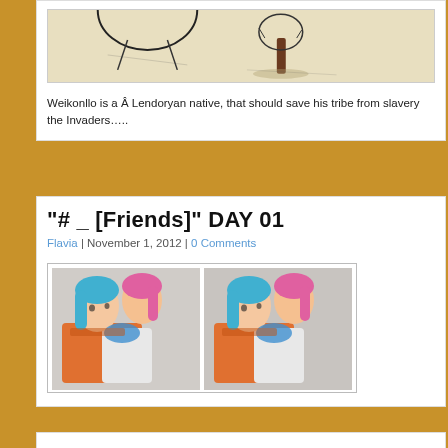[Figure (illustration): Partial view of a pencil/ink illustration on beige background showing a tree and partial figure (top of page card, cropped)]
Weikonllo is a Â Lendoryan native, that should save his tribe from slavery the Invaders…..
"# _ [Friends]" DAY 01
Flavia | November 1, 2012 | 0 Comments
[Figure (illustration): Two side-by-side colored pencil drawings of two anime-style female characters, one with blue hair and one with pink hair, wearing orange and white outfits]